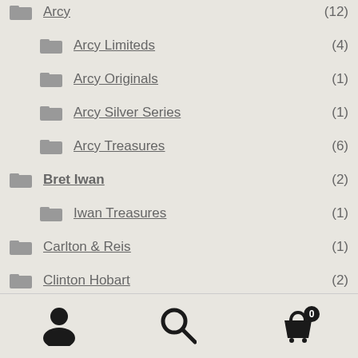Arcy (12)
Arcy Limiteds (4)
Arcy Originals (1)
Arcy Silver Series (1)
Arcy Treasures (6)
Bret Iwan (2)
Iwan Treasures (1)
Carlton & Reis (1)
Clinton Hobart (2)
Hobart Treasures (2)
Denyse Klette (2)
Denyse Limited Editions (1)